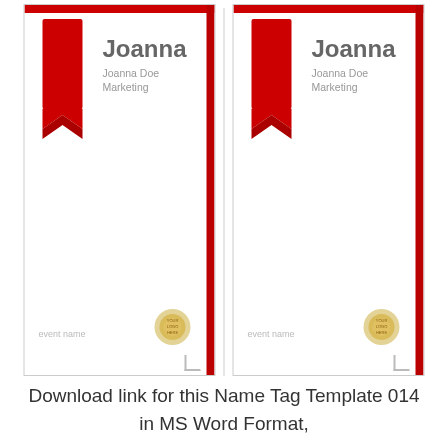[Figure (illustration): Two identical name tag template previews side by side, each showing a red ribbon bookmark graphic, the name 'Joanna', 'Joanna Doe', 'Marketing', 'event name' text, and a gold seal emblem with a red right border]
Download link for this Name Tag Template 014 in MS Word Format,
[Figure (illustration): A large red rounded-rectangle download button with white bold text 'DOWNLOAD' and a white downward arrow/download icon, with a red reflection below]
[Figure (illustration): Two partial yellow name tag template previews at the bottom of the page, each showing dotted top border, a red ribbon on the left, and 'EVENT NAME' label text]